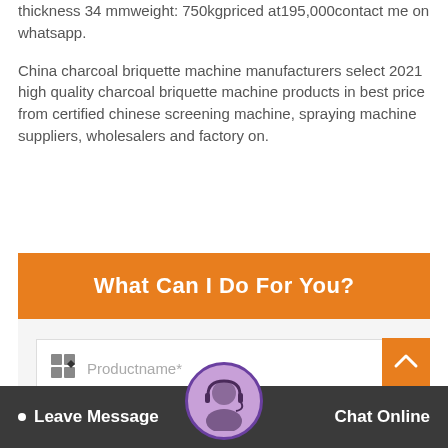thickness 34 mmweight: 750kgpriced at195,000contact me on whatsapp.
China charcoal briquette machine manufacturers select 2021 high quality charcoal briquette machine products in best price from certified chinese screening machine, spraying machine suppliers, wholesalers and factory on.
What Can I Do For You?
[Figure (screenshot): Contact form with product name input field and back-to-top orange button]
Leave Message  Chat Online